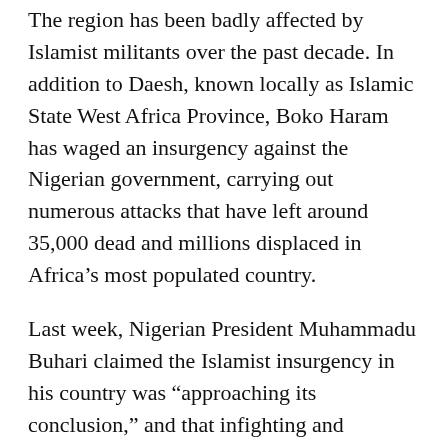The region has been badly affected by Islamist militants over the past decade. In addition to Daesh, known locally as Islamic State West Africa Province, Boko Haram has waged an insurgency against the Nigerian government, carrying out numerous attacks that have left around 35,000 dead and millions displaced in Africa's most populated country.
Last week, Nigerian President Muhammadu Buhari claimed the Islamist insurgency in his country was “approaching its conclusion,” and that infighting and battlefield losses were causing thousands of fighters to lay down their arms.